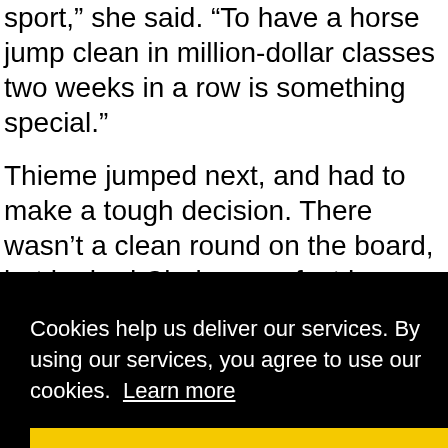sport," she said. "To have a horse jump clean in million-dollar classes two weeks in a row is something special."
Thieme jumped next, and had to make a tough decision. There wasn't a clean round on the board, but he had Clarke on a fast horse in the line-up behind him. "I came all the way up to the in-gate to watch Kent because I knew he was going to be the [risks. I] [me] [ed that]
Cookies help us deliver our services. By using our services, you agree to use our cookies. Learn more
Got it!
[Figure (photo): Bottom strip showing partial image of International Equestrian Center with foliage and a tent/building structure, with text 'INTERNATIONAL EQUESTRIAN CENTER']